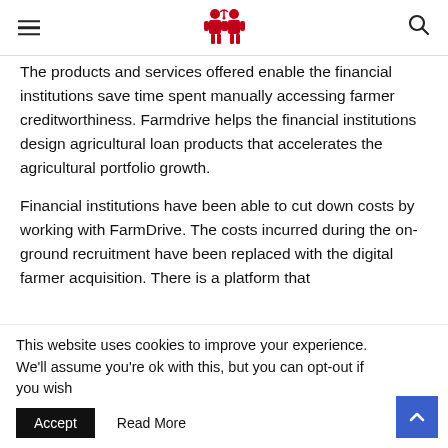[hamburger menu] [FarmDrive logo] [search icon]
The products and services offered enable the financial institutions save time spent manually accessing farmer creditworthiness. Farmdrive helps the financial institutions design agricultural loan products that accelerates the agricultural portfolio growth.
Financial institutions have been able to cut down costs by working with FarmDrive. The costs incurred during the on-ground recruitment have been replaced with the digital farmer acquisition. There is a platform that
This website uses cookies to improve your experience. We'll assume you're ok with this, but you can opt-out if you wish
Accept   Read More